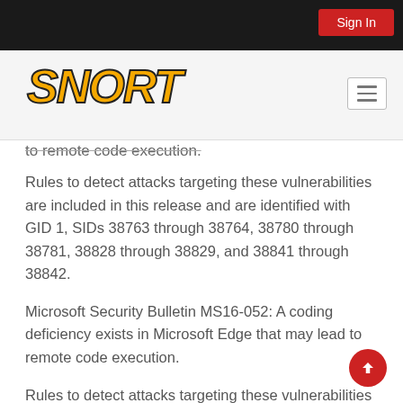Sign In
[Figure (logo): SNORT logo in bold italic yellow with dark outline]
to remote code execution.
Rules to detect attacks targeting these vulnerabilities are included in this release and are identified with GID 1, SIDs 38763 through 38764, 38780 through 38781, 38828 through 38829, and 38841 through 38842.
Microsoft Security Bulletin MS16-052: A coding deficiency exists in Microsoft Edge that may lead to remote code execution.
Rules to detect attacks targeting these vulnerabilities are included in this release and are identified with GID 1, SIDs 38776 through 38777 and 38805 through 38806.
Microsoft Security Bulletin MS16-053: A coding deficiency exists in Microsoft…